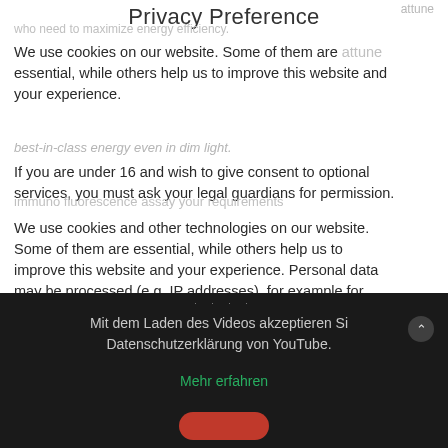Privacy Preference
We use cookies on our website. Some of them are essential, while others help us to improve this website and your experience.
If you are under 16 and wish to give consent to optional services, you must ask your legal guardians for permission.
We use cookies and other technologies on our website. Some of them are essential, while others help us to improve this website and your experience. Personal data may be processed (e.g. IP addresses), for example for personalized ads and content or ad and content measurement. You can find more information about the
Essential
Statistics
External Media
Mit dem Laden des Videos akzeptieren Si Datenschutzerklärung von YouTube.
Mehr erfahren